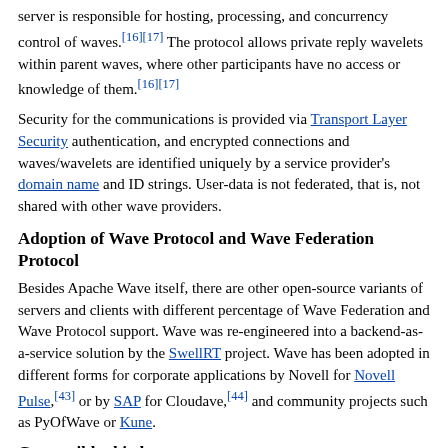server is responsible for hosting, processing, and concurrency control of waves.[16][17] The protocol allows private reply wavelets within parent waves, where other participants have no access or knowledge of them.[16][17]
Security for the communications is provided via Transport Layer Security authentication, and encrypted connections and waves/wavelets are identified uniquely by a service provider's domain name and ID strings. User-data is not federated, that is, not shared with other wave providers.
Adoption of Wave Protocol and Wave Federation Protocol
Besides Apache Wave itself, there are other open-source variants of servers and clients with different percentage of Wave Federation and Wave Protocol support. Wave was re-engineered into a backend-as-a-service solution by the SwellRT project. Wave has been adopted in different forms for corporate applications by Novell for Novell Pulse,[43] or by SAP for Cloudave,[44] and community projects such as PyOfWave or Kune.
Compatible third-party servers